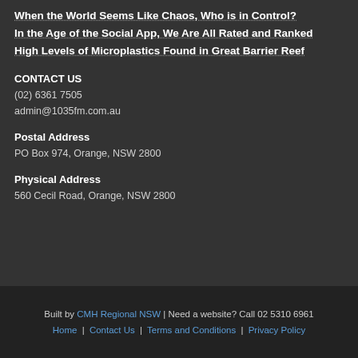When the World Seems Like Chaos, Who is in Control?
In the Age of the Social App, We Are All Rated and Ranked
High Levels of Microplastics Found in Great Barrier Reef
CONTACT US
(02) 6361 7505
admin@1035fm.com.au
Postal Address
PO Box 974, Orange, NSW 2800
Physical Address
560 Cecil Road, Orange, NSW 2800
Built by CMH Regional NSW | Need a website? Call 02 5310 6961
Home | Contact Us | Terms and Conditions | Privacy Policy